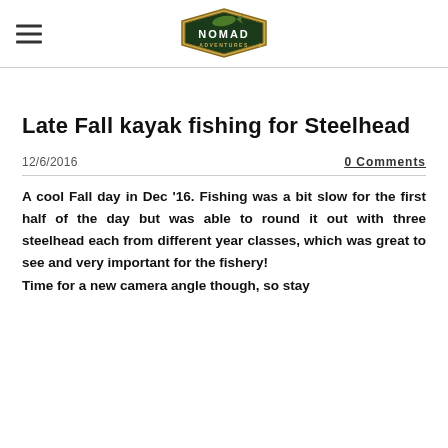[Figure (logo): Nomad Adventures logo with fish and badge design]
Late Fall kayak fishing for Steelhead
12/6/2016	0 Comments
A cool Fall day in Dec '16. Fishing was a bit slow for the first half of the day but was able to round it out with three steelhead each from different year classes, which was great to see and very important for the fishery!
Time for a new camera angle though, so stay